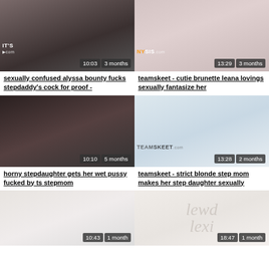[Figure (photo): Video thumbnail - dark toned image, top left]
sexually confused alyssa bounty fucks stepdaddy's cock for proof -
[Figure (photo): Video thumbnail - muted pink/gray tones, top right]
teamskeet - cutie brunette leana lovings sexually fantasize her
[Figure (photo): Video thumbnail - dark black and white tones, middle left]
horny stepdaughter gets her wet pussy fucked by ts stepmom
[Figure (photo): Video thumbnail - light blue/gray tones, middle right]
teamskeet - strict blonde step mom makes her step daughter sexually
[Figure (photo): Video thumbnail - very light/white tones, bottom left]
[Figure (photo): Video thumbnail - light with watermark text, bottom right]